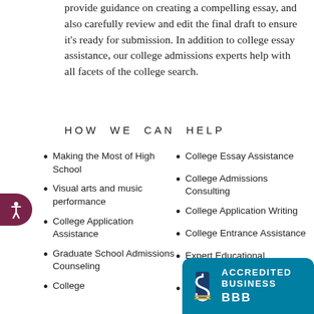provide guidance on creating a compelling essay, and also carefully review and edit the final draft to ensure it’s ready for submission. In addition to college essay assistance, our college admissions experts help with all facets of the college search.
HOW WE CAN HELP
Making the Most of High School
Visual arts and music performance
College Application Assistance
Graduate School Admissions Counseling
College
College Essay Assistance
College Admissions Consulting
College Application Writing
College Entrance Assistance
Expert Educational Consultancy
Career Assessment and Consulting
College Assistance B...
College ... Counseli...
[Figure (logo): BBB Accredited Business badge in teal/blue with white text and BBB logo]